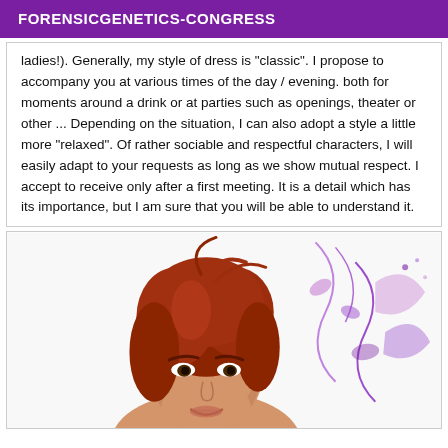FORENSICGENETICS-CONGRESS
ladies!). Generally, my style of dress is "classic". I propose to accompany you at various times of the day / evening. both for moments around a drink or at parties such as openings, theater or other ... Depending on the situation, I can also adopt a style a little more "relaxed". Of rather sociable and respectful characters, I will easily adapt to your requests as long as we show mutual respect. I accept to receive only after a first meeting. It is a detail which has its importance, but I am sure that you will be able to understand it.
[Figure (photo): Portrait photo of a woman with red hair, white background with decorative floral/swirl elements]